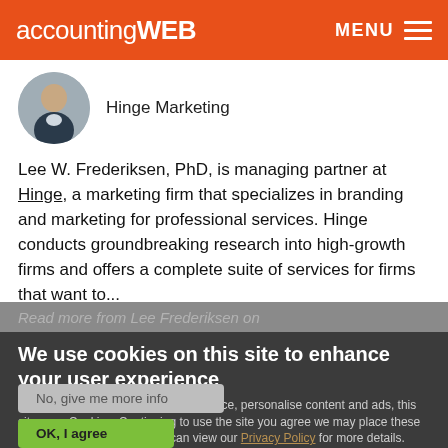accountingWEB  MENU
[Figure (photo): Circular author headshot photo of a man in a suit]
Hinge Marketing
Lee W. Frederiksen, PhD, is managing partner at Hinge, a marketing firm that specializes in branding and marketing for professional services. Hinge conducts groundbreaking research into high-growth firms and offers a complete suite of services for firms that want to...
Read more from Lee Frederiksen on
We use cookies on this site to enhance your user experience
To give you the best possible experience, personalise content and ads, this site uses Cookies. Continuing to use the site you agree we may place these cookies on your device. You can view our Privacy Policy for more details.
No, give me more info
OK, I agree